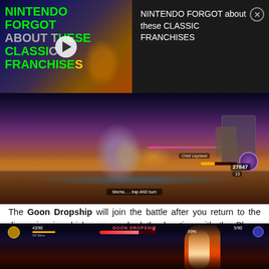[Figure (screenshot): YouTube-style ad overlay showing a Nintendo video thumbnail with green bold text 'NINTENDO FORGOT ABOUT THESE CLASSIC FRANCHISES' and play button on left, and ad title text on right on dark background]
[Figure (screenshot): Video game screenshot showing a large character battle scene with HUD elements including health bar showing 27847 score]
The Goon Dropship will join the battle after you return to the dimension in which you reached the location with the Phase Quartz and received the mission objective to stop the drill.
[Figure (screenshot): Video game screenshot showing GOON DROPSHIP boss encounter with health bar at 69%, player HP 43/90, and a large fire/explosion effect on the right side of the screen]